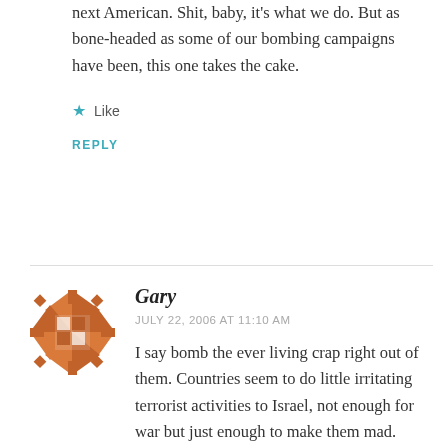next American. Shit, baby, it's what we do. But as bone-headed as some of our bombing campaigns have been, this one takes the cake.
Like
REPLY
[Figure (illustration): User avatar icon: decorative geometric snowflake/cross pattern in orange/brown color]
Gary
JULY 22, 2006 AT 11:10 AM
I say bomb the ever living crap right out of them. Countries seem to do little irritating terrorist activities to Israel, not enough for war but just enough to make them mad. They bomb a bus bomb bomb a bus again repeat the cycle.